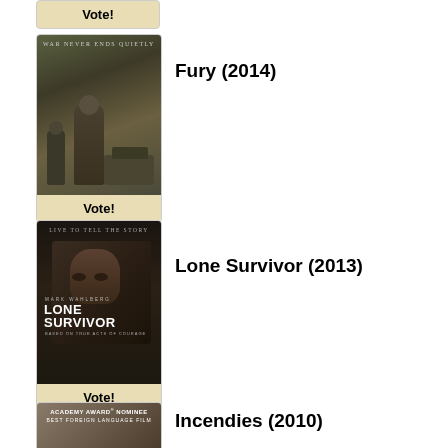[Figure (other): Partial vote button at top of page, cut off]
[Figure (photo): Movie poster for Fury (2014) with text WAR NEVER ENDS QUIETLY and soldiers near a tank]
Fury (2014)
[Figure (photo): Movie poster for Lone Survivor (2013) with text LIVE TO TELL THE STORY, Mark Wahlberg film]
Lone Survivor (2013)
[Figure (photo): Movie poster for Incendies (2010) with text ACADEMY AWARD NOMINEE BEST FOREIGN LANGUAGE FILM]